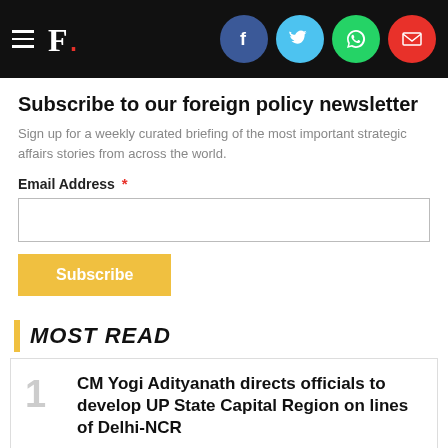F. [The Print logo with social share icons: Facebook, Twitter, WhatsApp, Email]
Subscribe to our foreign policy newsletter
Sign up for a weekly curated briefing of the most important strategic affairs stories from across the world.
Email Address *
MOST READ
CM Yogi Adityanath directs officials to develop UP State Capital Region on lines of Delhi-NCR
Adityanath added that Lucknow and its surrounding districts like Unnao, Sitapur, Rae Bareli, Barabanki, Kanpur Nagar and Kanpur Dehat could be included in the UP State Capital Region